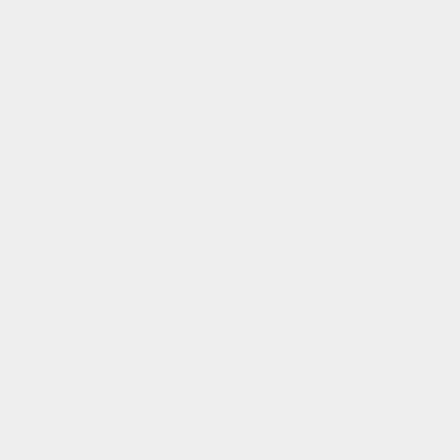cloak over your opponent's head — if the cloak falls over their face a "HO" should be called
2. You can also